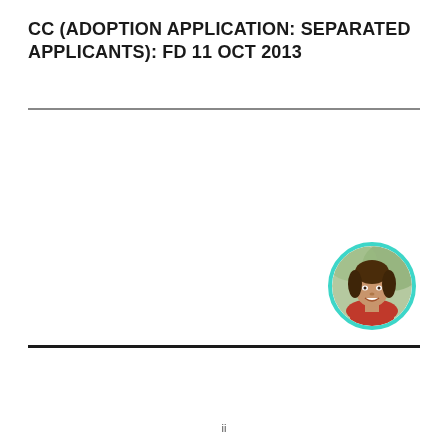CC (ADOPTION APPLICATION: SEPARATED APPLICANTS): FD 11 OCT 2013
[Figure (photo): Circular portrait photo of a smiling woman with dark hair, with a teal/cyan circular border ring]
ii